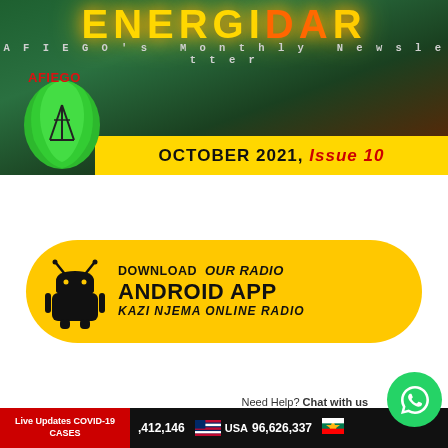AFIEGO's Monthly Newsletter
OCTOBER 2021, Issue 10
[Figure (logo): AFIEGO logo with Africa map silhouette in green and oil tower, with red AFIEGO text]
[Figure (infographic): Yellow rounded rectangle banner: DOWNLOAD OUR RADIO ANDROID APP KAZI NJEMA ONLINE RADIO with Android robot icon]
Need Help? Chat with us
[Figure (logo): WhatsApp green circle logo]
Live Updates COVID-19 CASES   ,412,146   USA 96,626,337